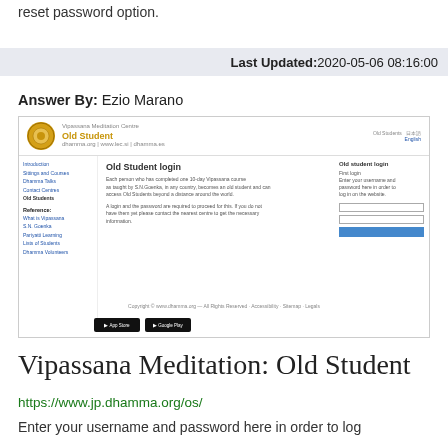reset password option.
Last Updated: 2020-05-06 08:16:00
Answer By: Ezio Marano
[Figure (screenshot): Screenshot of Vipassana Meditation Centre Old Student login page, showing navigation sidebar, main content area with login instructions, and a login form panel on the right, with App Store and Google Play download buttons at the bottom.]
Vipassana Meditation: Old Student
https://www.jp.dhamma.org/os/
Enter your username and password here in order to log